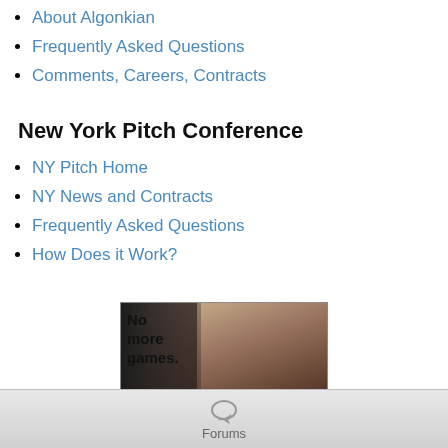About Algonkian
Frequently Asked Questions
Comments, Careers, Contracts
New York Pitch Conference
NY Pitch Home
NY News and Contracts
Frequently Asked Questions
How Does it Work?
[Figure (photo): Advertisement image showing a woman's face in dim lighting with text 'No more games.' and a red apple graphic]
Forums